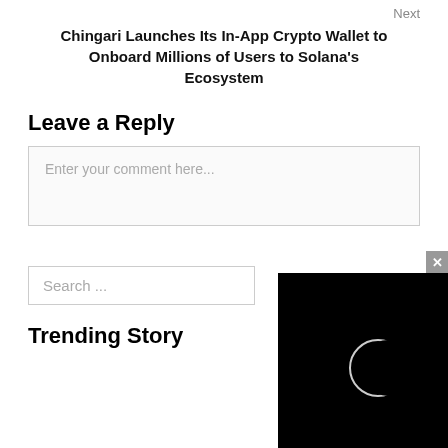Next
Chingari Launches Its In-App Crypto Wallet to Onboard Millions of Users to Solana's Ecosystem
Leave a Reply
Enter your comment here...
Search ...
Trending Story
[Figure (screenshot): Black video player panel with a crescent/eclipse shape visible in the center, overlaid on the bottom-right of the page. A gray close (x) button appears in the top-right corner of the panel.]